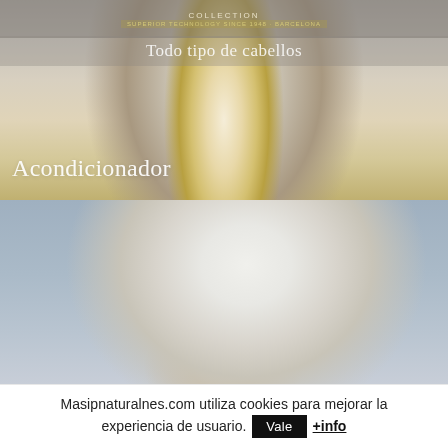[Figure (photo): Back of a woman's head with long blonde straight hair, shown against a grey background. Dark overlay strip at top shows 'COLLECTION' and a tagline. Text overlaid: 'Todo tipo de cabellos' in white and 'Acondicionador' in white at bottom left.]
[Figure (photo): Woman with hair wrapped in a white towel turban, shown from shoulders up against a light blue background.]
Masipnaturalnes.com utiliza cookies para mejorar la experiencia de usuario.
Vale
+info